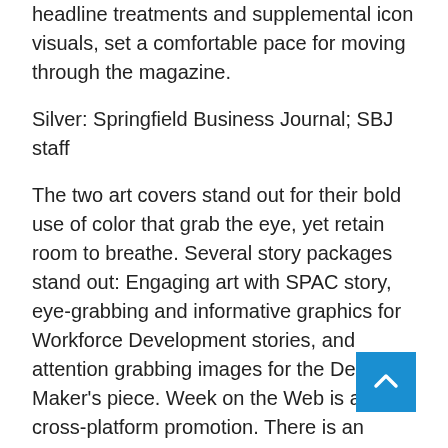headline treatments and supplemental icon visuals, set a comfortable pace for moving through the magazine.
Silver: Springfield Business Journal; SBJ staff
The two art covers stand out for their bold use of color that grab the eye, yet retain room to breathe. Several story packages stand out: Engaging art with SPAC story, eye-grabbing and informative graphics for Workforce Development stories, and attention grabbing images for the Decision Maker’s piece. Week on the Web is a good cross-platform promotion. There is an active variety in typography, including headlines and deck heads that are well delineated.
Gold: Worcester Business Journal; Mitchell Hayes,